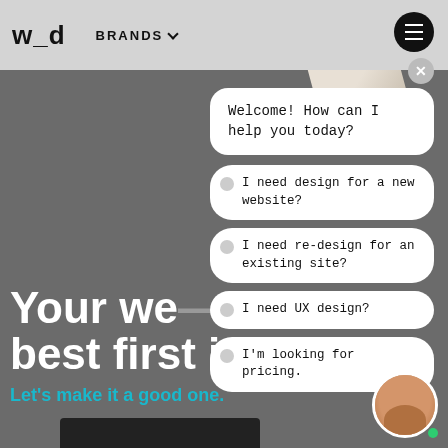w_d   BRANDS
[Figure (screenshot): Chat widget overlay on a web design agency homepage showing chatbot options]
Welcome! How can I help you today?
I need design for a new website?
I need re-design for an existing site?
I need UX design?
I'm looking for pricing.
Your we... best first im...
Let's make it a good one.